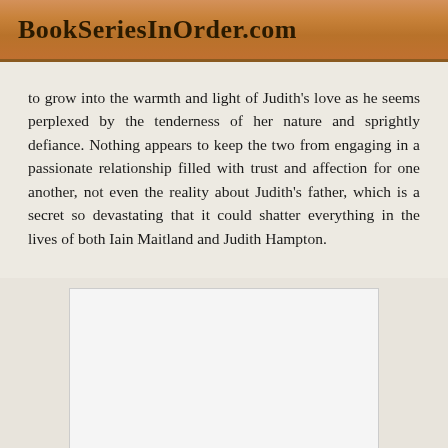BookSeriesInOrder.com
to grow into the warmth and light of Judith's love as he seems perplexed by the tenderness of her nature and sprightly defiance. Nothing appears to keep the two from engaging in a passionate relationship filled with trust and affection for one another, not even the reality about Judith's father, which is a secret so devastating that it could shatter everything in the lives of both Iain Maitland and Judith Hampton.
[Figure (other): Book cover image placeholder with three small grey dots at the bottom center]